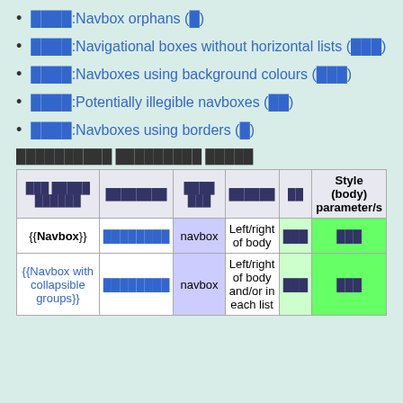████:Navbox orphans (█)
████:Navigational boxes without horizontal lists (███)
████:Navboxes using background colours (███)
████:Potentially illegible navboxes (██)
████:Navboxes using borders (█)
██████████ █████████ █████
| ███ █████ ██████ | ████████ | ████ ███ | ██████ | ██ | Style (body) parameter/s |
| --- | --- | --- | --- | --- | --- |
| {{Navbox}} | ████████ | navbox | Left/right of body | ███ | ███ |
| {{Navbox with collapsible groups}} | ████████ | navbox | Left/right of body and/or in each list | ███ | ███ |